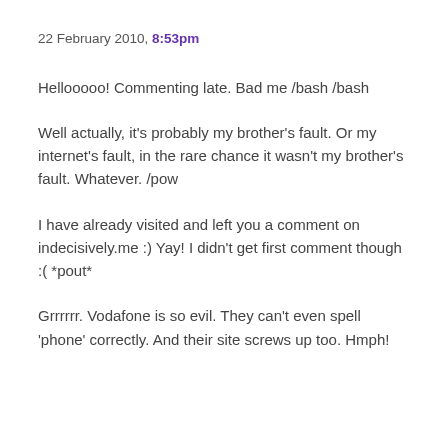22 February 2010, 8:53pm
Hellooooo! Commenting late. Bad me /bash /bash
Well actually, it's probably my brother's fault. Or my internet's fault, in the rare chance it wasn't my brother's fault. Whatever. /pow
I have already visited and left you a comment on indecisively.me :) Yay! I didn't get first comment though :( *pout*
Grrrrrr. Vodafone is so evil. They can't even spell 'phone' correctly. And their site screws up too. Hmph!